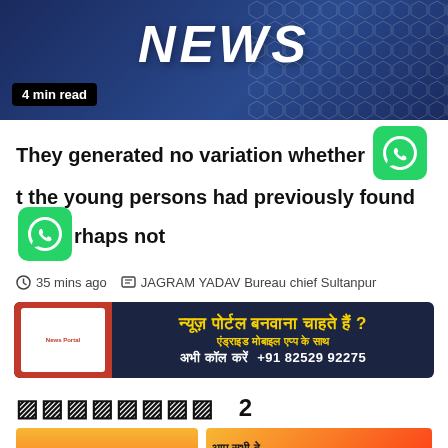[Figure (illustration): Dark blue news banner with hexagonal dot pattern background, large italic white 'NEWS' text, and '4 min read' badge in bottom left]
They generated no variation whether [WhatsApp icon] t the young persons had previously found [icon] rhaps not
35 mins ago  JAGRAM YADAV Bureau chief Sultanpur
[Figure (infographic): Dark navy advertisement banner: न्यूज़ पोर्टल बनवाना चाहते हैं ? एंड्राइड मोबाइल एप्प के साथ अभी कॉल करें +91 82529 92275]
🔲🔲🔲🔲🔲🔲🔲🔲 2
[Figure (photo): Two thumbnail images at bottom: orange/red gradient image on left with Hindi text 'यहां से अच्छा', and orange gradient image on right with Hindi text 'आप सभी दे... गणतंत्र दिव... की हार्दिक बधाई एवं शुभ...']